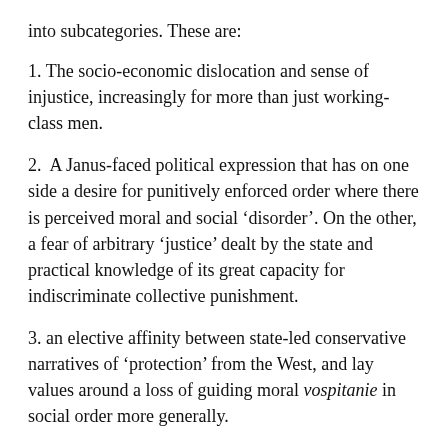into subcategories. These are:
1. The socio-economic dislocation and sense of injustice, increasingly for more than just working-class men.
2.  A Janus-faced political expression that has on one side a desire for punitively enforced order where there is perceived moral and social ‘disorder’. On the other, a fear of arbitrary ‘justice’ dealt by the state and practical knowledge of its great capacity for indiscriminate collective punishment.
3. an elective affinity between state-led conservative narratives of ‘protection’ from the West, and lay values around a loss of guiding moral vospitanie in social order more generally.
This results in confused expressions of both loyalty and dissent. Daria Ukhova found that ‘traditional family values’ serve as a resource for ordinary Russians to help to come to